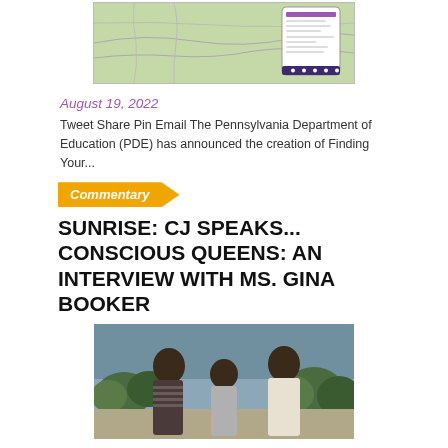[Figure (photo): Screenshot of a map application showing Pennsylvania region with a phone overlay showing purple UI elements and a dark navigation bar at the bottom]
August 19, 2022
Tweet Share Pin Email The Pennsylvania Department of Education (PDE) has announced the creation of Finding Your...
Commentary
SUNRISE: CJ SPEAKS... CONSCIOUS QUEENS: AN INTERVIEW WITH MS. GINA BOOKER
[Figure (photo): Portrait photo of three Black women/girls posed together outdoors with a natural background]
August 19, 2022
Tweet Share Pin Email I first met recent Chestnut Hill College graduate Gina Booker at an open...